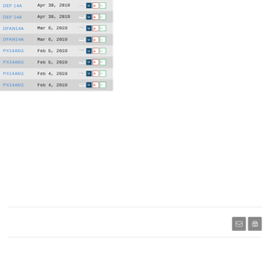| Filing Type | Date | Documents |
| --- | --- | --- |
| DEF 14A | Apr 30, 2019 | HTML | IW | PDF | XLS |
| DEF 14A | Apr 30, 2019 | HTML | IW | PDF | XLS |
| DFAN14A | Mar 6, 2019 | HTML | IW | PDF | XLS |
| DFAN14A | Mar 6, 2019 | HTML | IW | PDF | XLS |
| PX14A6G | Feb 5, 2019 | HTML | IW | PDF | XLS |
| PX14A6G | Feb 5, 2019 | HTML | IW | PDF | XLS |
| PX14A6G | Feb 4, 2019 | HTML | IW | PDF | XLS |
| PX14A6G | Feb 4, 2019 | HTML | IW | PDF | XLS |